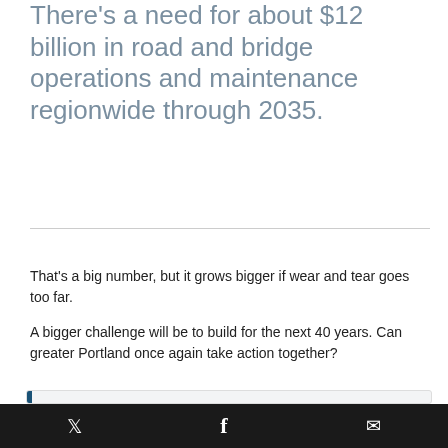There's a need for about $12 billion in road and bridge operations and maintenance regionwide through 2035.
That's a big number, but it grows bigger if wear and tear goes too far.

A bigger challenge will be to build for the next 40 years. Can greater Portland once again take action together?
A journey we share
Just as greater Portland changes, so do our lives – and
🐦  f  ✉